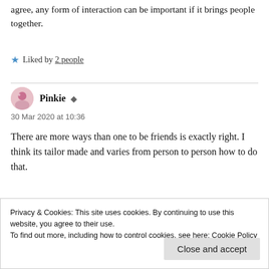agree, any form of interaction can be important if it brings people together.
Liked by 2 people
Pinkie
30 Mar 2020 at 10:36
There are more ways than one to be friends is exactly right. I think its tailor made and varies from person to person how to do that.
Privacy & Cookies: This site uses cookies. By continuing to use this website, you agree to their use. To find out more, including how to control cookies, see here: Cookie Policy
Close and accept